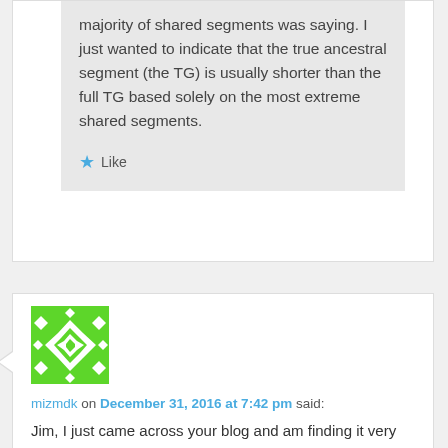majority of shared segments was saying. I just wanted to indicate that the true ancestral segment (the TG) is usually shorter than the full TG based solely on the most extreme shared segments.
★ Like
[Figure (illustration): Green pixel-art avatar icon with white diamond/star pattern]
mizmdk on December 31, 2016 at 7:42 pm said:
Jim, I just came across your blog and am finding it very helpful. However, I must be missing something. Forgive me if I am asking something